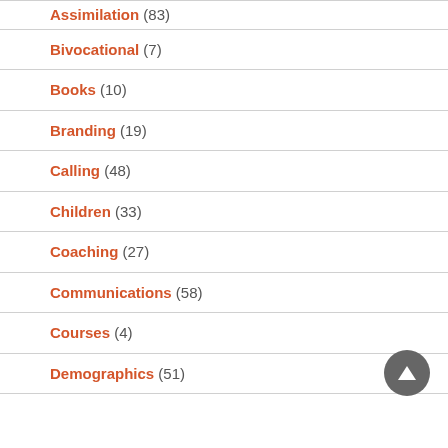Assimilation (83)
Bivocational (7)
Books (10)
Branding (19)
Calling (48)
Children (33)
Coaching (27)
Communications (58)
Courses (4)
Demographics (51)